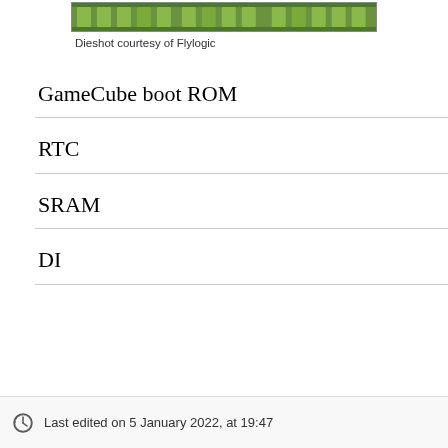[Figure (photo): Dieshot image of a chip, green circuit board strip]
Dieshot courtesy of Flylogic
GameCube boot ROM
RTC
SRAM
DI
Last edited on 5 January 2022, at 19:47